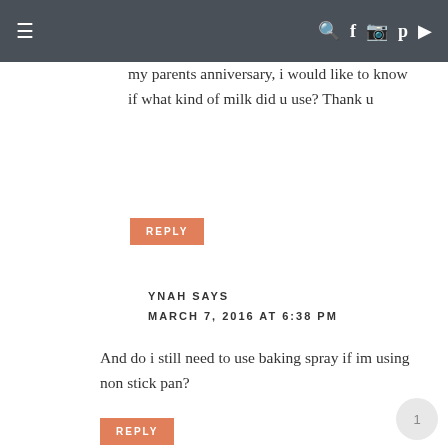≡   🔍 f 📷 p ▶
my parents anniversary, i would like to know if what kind of milk did u use? Thank u
REPLY
YNAH SAYS
MARCH 7, 2016 AT 6:38 PM
And do i still need to use baking spray if im using non stick pan?
REPLY